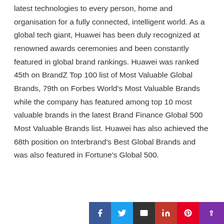latest technologies to every person, home and organisation for a fully connected, intelligent world. As a global tech giant, Huawei has been duly recognized at renowned awards ceremonies and been constantly featured in global brand rankings. Huawei was ranked 45th on BrandZ Top 100 list of Most Valuable Global Brands, 79th on Forbes World's Most Valuable Brands while the company has featured among top 10 most valuable brands in the latest Brand Finance Global 500 Most Valuable Brands list. Huawei has also achieved the 68th position on Interbrand's Best Global Brands and was also featured in Fortune's Global 500.
[Figure (other): Social sharing buttons row: Facebook (blue), Twitter (light blue), Email (dark/black), LinkedIn (red), Pinterest (red), and an up-arrow scroll button (purple)]